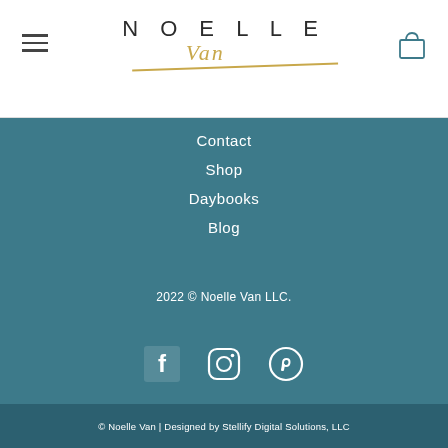[Figure (logo): Noelle Van brand logo with 'NOELLE' in spaced uppercase sans-serif and 'Van' in gold italic script with underline]
Contact
Shop
Daybooks
Blog
2022 © Noelle Van LLC.
[Figure (infographic): Social media icons: Facebook, Instagram, Pinterest in white on teal background]
© Noelle Van | Designed by Stellify Digital Solutions, LLC